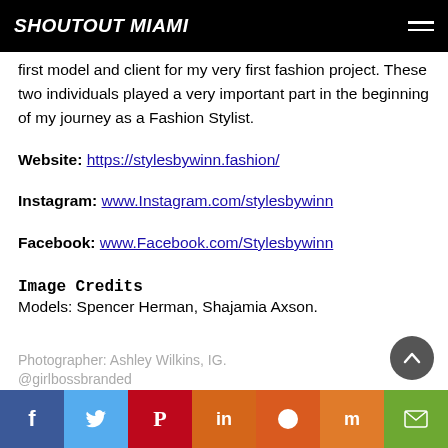SHOUTOUT MIAMI
first model and client for my very first fashion project. These two individuals played a very important part in the beginning of my journey as a Fashion Stylist.
Website: https://stylesbywinn.fashion/
Instagram: www.Instagram.com/stylesbywinn
Facebook: www.Facebook.com/Stylesbywinn
Image Credits
Models: Spencer Herman, Shajamia Axson.
Photographer: Ashley Wilkins, IG. @girlbossbranded